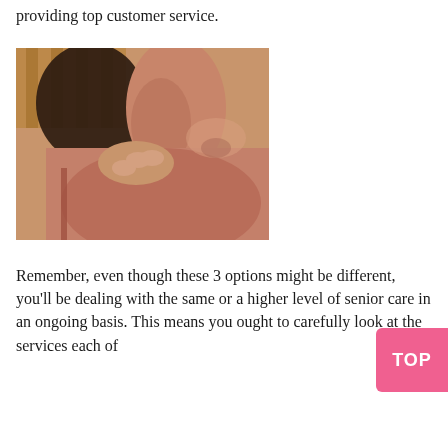providing top customer service.
[Figure (photo): Close-up photo of a person applying or touching their shoulder/upper back area, wearing a mauve/dusty pink sports bra top. Warm orange-tinted lighting. A wooden headboard or furniture is partially visible in the background.]
Remember, even though these 3 options might be different, you'll be dealing with the same or a higher level of senior care in an ongoing basis. This means you ought to carefully look at the services each of